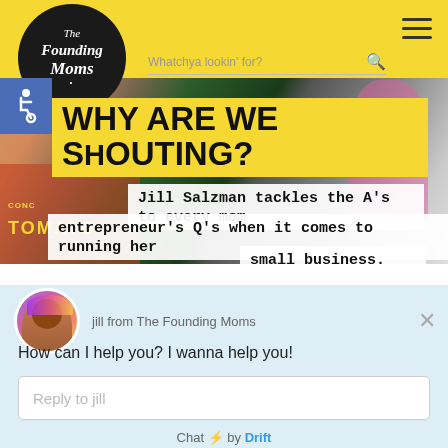[Figure (screenshot): The Founding Moms website screenshot showing logo, navigation bar with hamburger menu and search field, hero image with yellow 'WHY ARE WE SHOUTING?' banner, subtitle text, and Drift chat widget overlay with profile picture of Jill, message 'How can I help you? I wanna help you!', reply input box, and 'Chat by Drift' footer.]
WHY ARE WE SHOUTING?
Jill Salzman tackles the A's to every mom entrepreneur's Q's when it comes to running her small business.
jill from The Founding Moms
How can I help you? I wanna help you!
Reply to jill
Chat ⚡ by Drift